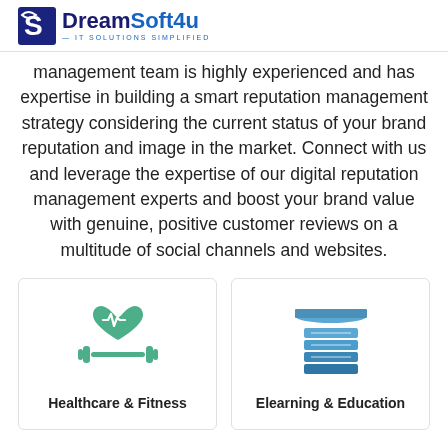DreamSoft4u — IT SOLUTIONS SIMPLIFIED
management team is highly experienced and has expertise in building a smart reputation management strategy considering the current status of your brand reputation and image in the market. Connect with us and leverage the expertise of our digital reputation management experts and boost your brand value with genuine, positive customer reviews on a multitude of social channels and websites.
[Figure (illustration): Healthcare & Fitness icon: green heart with heartbeat line and green dumbbells below]
Healthcare & Fitness
[Figure (illustration): Elearning & Education icon: stack of blue books with a graduation cap on top]
Elearning & Education